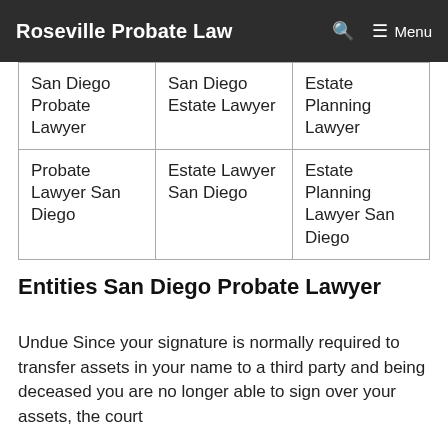Roseville Probate Law
| San Diego Probate Lawyer | San Diego Estate Lawyer | Estate Planning Lawyer |
| Probate Lawyer San Diego | Estate Lawyer San Diego | Estate Planning Lawyer San Diego |
Entities San Diego Probate Lawyer
Undue Since your signature is normally required to transfer assets in your name to a third party and being deceased you are no longer able to sign over your assets, the court